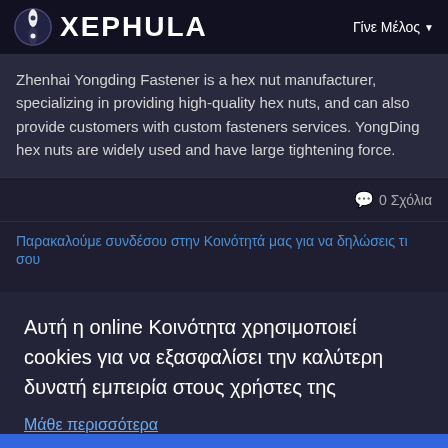XEPHULA | Γίνε Μέλος
Zhenhai Yongding Fastener is a hex nut manufacturer, specializing in providing high-quality hex nuts, and can also provide customers with custom fasteners services. YongDing hex nuts are widely used and have large tightening force.
0 Σχόλια
Παρακαλούμε συνδέσου στην Κοινότητά μας για να δηλώσεις τι σου
Αυτή η online Κοινότητα χρησιμοποιεί cookies για να εξασφαλίσει την καλύτερη δυνατή εμπειρία στους χρήστες της
Μάθε περισσότερα
Το 'πιασα!